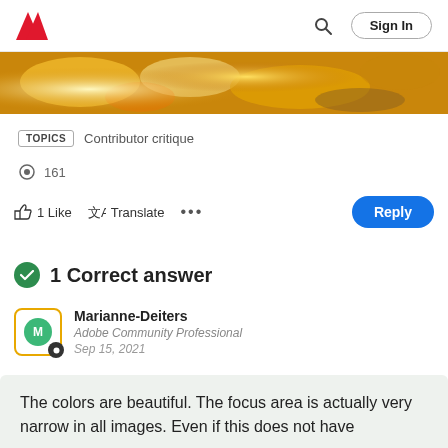[Figure (screenshot): Adobe website header with Adobe logo, search icon, and Sign In button]
[Figure (photo): Blurred autumn leaves banner image with yellow and orange tones]
TOPICS  Contributor critique
161
1 Like  Translate  ...
1 Correct answer
Marianne-Deiters
Adobe Community Professional
Sep 15, 2021
The colors are beautiful. The focus area is actually very narrow in all images. Even if this does not have